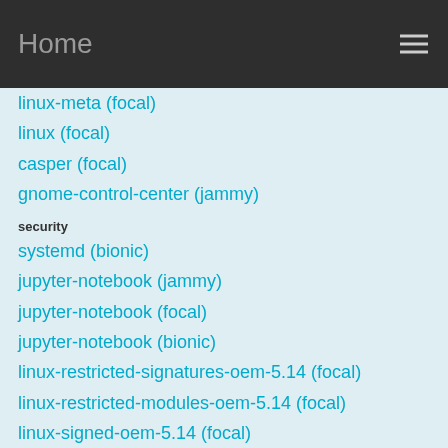Home
linux-meta (focal)
linux (focal)
casper (focal)
gnome-control-center (jammy)
security
systemd (bionic)
jupyter-notebook (jammy)
jupyter-notebook (focal)
jupyter-notebook (bionic)
linux-restricted-signatures-oem-5.14 (focal)
linux-restricted-modules-oem-5.14 (focal)
linux-signed-oem-5.14 (focal)
linux-oem-5.14 (focal)
See all
PPA updates
PPAs
lightdm-settings (tessa)
awf (tessa)